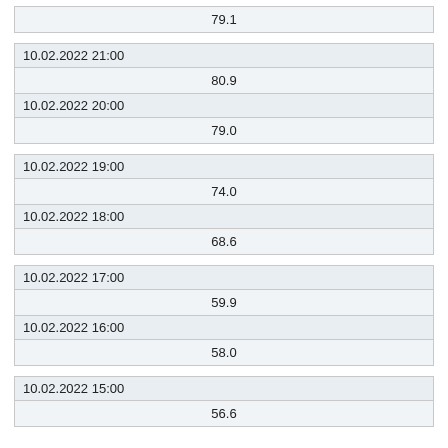| 79.1 |
| 10.02.2022 21:00 | 10.02.2022 20:00 |
| --- | --- |
| 80.9 |
| 79.0 |
| 10.02.2022 19:00 | 10.02.2022 18:00 |
| --- | --- |
| 74.0 |
| 68.6 |
| 10.02.2022 17:00 | 10.02.2022 16:00 |
| --- | --- |
| 59.9 |
| 58.0 |
| 10.02.2022 15:00 |
| --- |
| 56.6 |